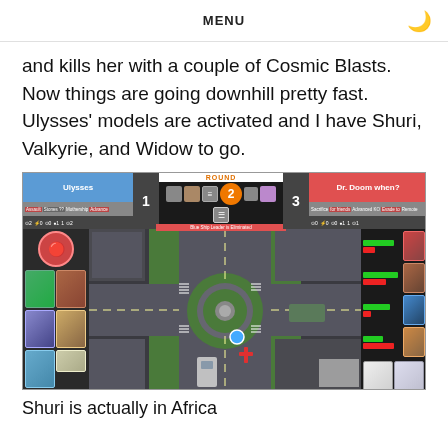MENU
and kills her with a couple of Cosmic Blasts. Now things are going downhill pretty fast. Ulysses' models are activated and I have Shuri, Valkyrie, and Widow to go.
[Figure (screenshot): Game screenshot showing a Marvel tabletop game interface with two players: Ulysses (score 1) and Dr. Doom when? (score 3), ROUND 2 indicator, and a top-down view of a city intersection with a roundabout.]
Shuri is actually in Africa